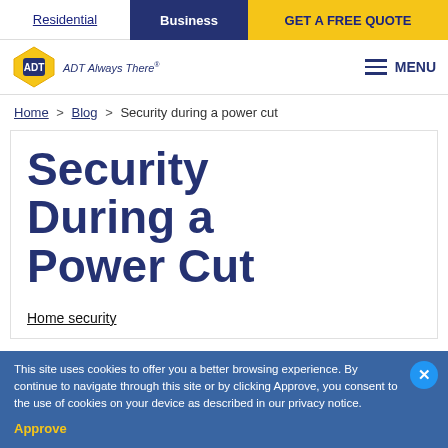Residential | Business | GET A FREE QUOTE
[Figure (logo): ADT logo diamond shape with ADT Always There tagline and hamburger menu with MENU text]
Home > Blog > Security during a power cut
Security During a Power Cut
Home security
This site uses cookies to offer you a better browsing experience. By continue to navigate through this site or by clicking Approve, you consent to the use of cookies on your device as described in our privacy notice. Approve